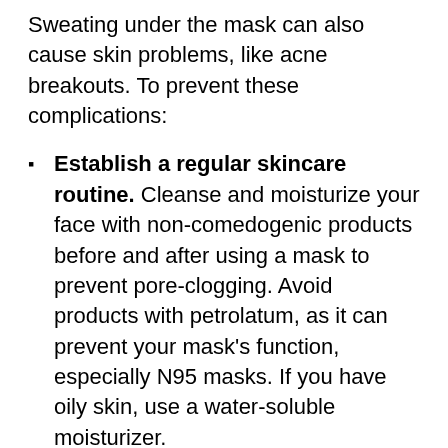Sweating under the mask can also cause skin problems, like acne breakouts. To prevent these complications:
Establish a regular skincare routine. Cleanse and moisturize your face with non-comedogenic products before and after using a mask to prevent pore-clogging. Avoid products with petrolatum, as it can prevent your mask’s function, especially N95 masks. If you have oily skin, use a water-soluble moisturizer.
Use a skin protectant to prevent friction. Wearing masks can cause friction or pressure, which can lead to skin injuries. Applying a thin layer of zinc oxide on your...